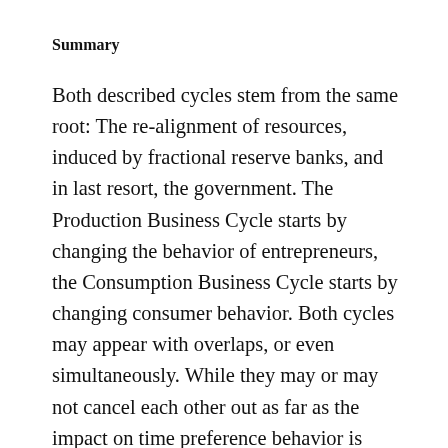Summary
Both described cycles stem from the same root: The re-alignment of resources, induced by fractional reserve banks, and in last resort, the government. The Production Business Cycle starts by changing the behavior of entrepreneurs, the Consumption Business Cycle starts by changing consumer behavior. Both cycles may appear with overlaps, or even simultaneously. While they may or may not cancel each other out as far as the impact on time preference behavior is concerned, their impact on encouraging overly risky behavior remains, even multiplies, and thus causes